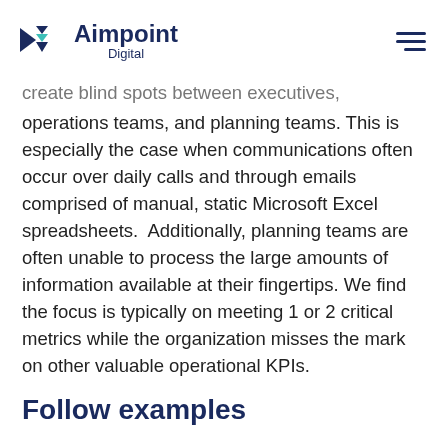Aimpoint Digital
create blind spots between executives, operations teams, and planning teams. This is especially the case when communications often occur over daily calls and through emails comprised of manual, static Microsoft Excel spreadsheets.  Additionally, planning teams are often unable to process the large amounts of information available at their fingertips. We find the focus is typically on meeting 1 or 2 critical metrics while the organization misses the mark on other valuable operational KPIs.
Follow examples